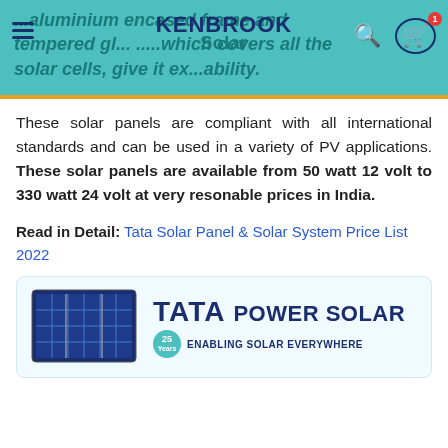Kenbrook Solar navigation bar with logo, search, and cart icons
These solar panels are compliant with all international standards and can be used in a variety of PV applications. These solar panels are available from 50 watt 12 volt to 330 watt 24 volt at very resonable prices in India.
Read in Detail: Tata Solar Panel & Solar System Price List 2022
[Figure (photo): Solar panel product image alongside Tata Power Solar logo with '25 Years Enabling Solar Everywhere' tagline]